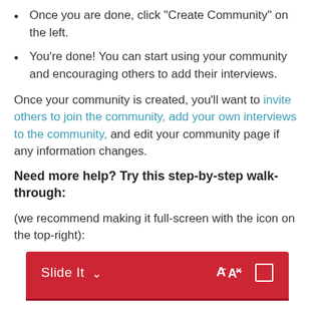Once you are done, click “Create Community” on the left.
You’re done! You can start using your community and encouraging others to add their interviews.
Once your community is created, you’ll want to invite others to join the community, add your own interviews to the community, and edit your community page if any information changes.
Need more help? Try this step-by-step walk-through:
(we recommend making it full-screen with the icon on the top-right):
[Figure (screenshot): A red toolbar/header bar labeled 'Slide It' with a dropdown chevron on the left, and icons for text size (A with superscript X) and fullscreen on the right.]